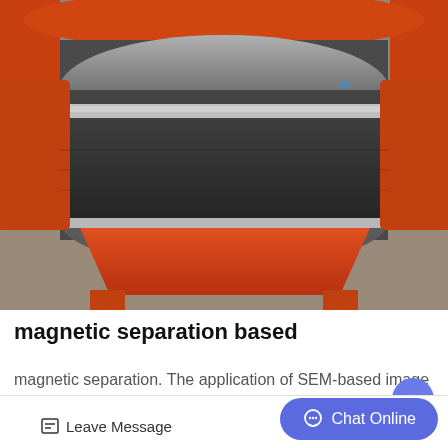[Figure (photo): Photograph of an industrial magnetic separation drum machine with a large cylindrical black drum mounted on an orange/red metal frame and base. A metal rod/shaft passes through the drum. The machine appears to be outdoors.]
magnetic separation based
magnetic separation. The application of SEM-based image analysis data to magnetic separa...